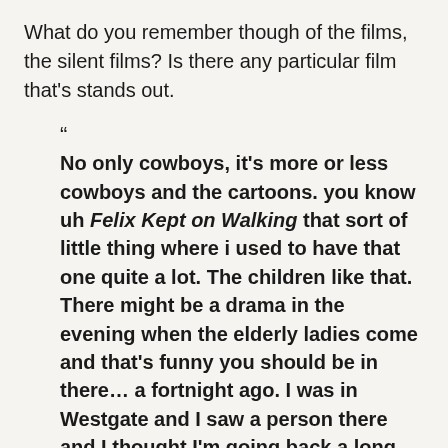What do you remember though of the films, the silent films? Is there any particular film that's stands out.
“ No only cowboys, it’s more or less cowboys and the cartoons. you know uh Felix Kept on Walking that sort of little thing where i used to have that one quite a lot. The children like that. There might be a drama in the evening when the elderly ladies come and that’s funny you should be in there… a fortnight ago. I was in Westgate and I saw a person there and I thought I’m going back a long way. I know your face. She was with her husband. so i got hold of her coat. I said “ Just a minute, excuse me, don’t think me